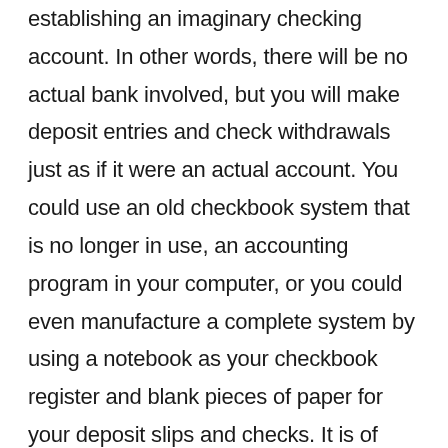establishing an imaginary checking account. In other words, there will be no actual bank involved, but you will make deposit entries and check withdrawals just as if it were an actual account. You could use an old checkbook system that is no longer in use, an accounting program in your computer, or you could even manufacture a complete system by using a notebook as your checkbook register and blank pieces of paper for your deposit slips and checks. It is of value to make this process feel as real to you as possible.
On the first day, deposit $1,000. And spend it. In other words, make a $1,000 deposit entry into